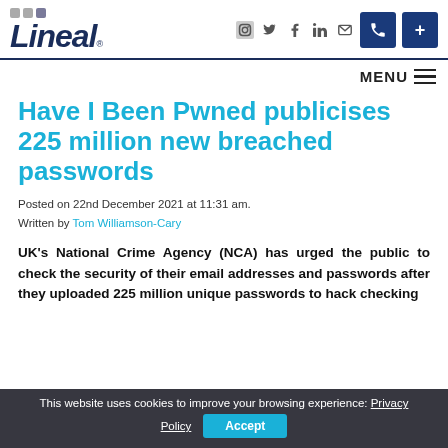Lineal logo with navigation icons, phone and plus buttons
MENU
Have I Been Pwned publicises 225 million new breached passwords
Posted on 22nd December 2021 at 11:31 am.
Written by Tom Williamson-Cary
UK's National Crime Agency (NCA) has urged the public to check the security of their email addresses and passwords after they uploaded 225 million unique passwords to hack checking
This website uses cookies to improve your browsing experience: Privacy Policy  Accept